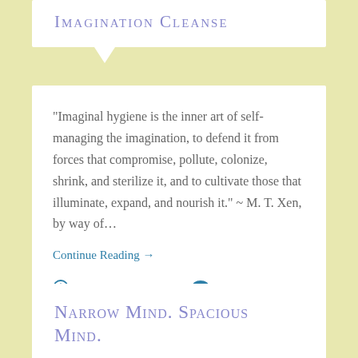Imagination Cleanse
“Imaginal hygiene is the inner art of self-managing the imagination, to defend it from forces that compromise, pollute, colonize, shrink, and sterilize it, and to cultivate those that illuminate, expand, and nourish it.” ~ M. T. Xen, by way of…
Continue Reading →
September 26, 2016   3
Narrow Mind. Spacious Mind.